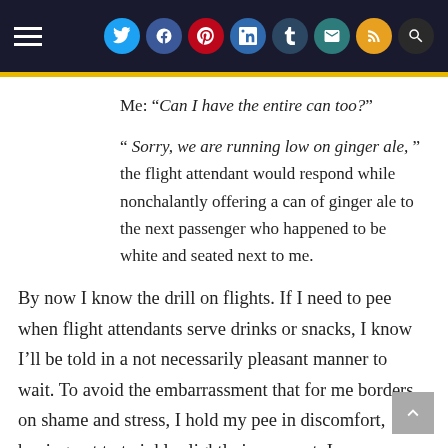Navigation header with hamburger menu and social icons (Twitter, Facebook, Pinterest, LinkedIn, Tumblr, Email, RSS, Search)
Me: “Can I have the entire can too?”
“ Sorry, we are running low on ginger ale, ” the flight attendant would respond while nonchalantly offering a can of ginger ale to the next passenger who happened to be white and seated next to me.
By now I know the drill on flights. If I need to pee when flight attendants serve drinks or snacks, I know I’ll be told in a not necessarily pleasant manner to wait. To avoid the embarrassment that for me borders on shame and stress, I hold my pee in discomfort, hoping not to twinkle slightly in my seat. In some ways, that solution solves another. I am less likely to desire a drink or care if my plastic cup of ginger ale is half-full